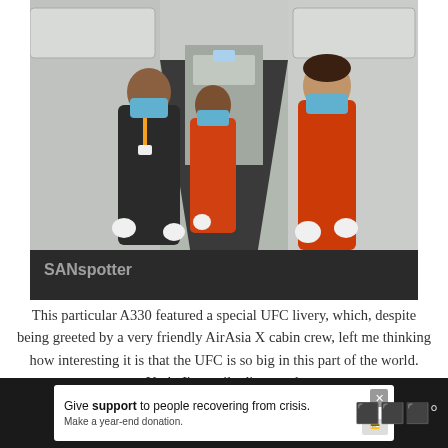[Figure (photo): AirAsia X cabin crew wearing masks and white gloves standing at the airplane entrance. One male crew member in dark uniform with lanyard, two female crew members in orange uniforms. Watermark 'SANspotter' in lower left.]
This particular A330 featured a special UFC livery, which, despite being greeted by a very friendly AirAsia X cabin crew, left me thinking how interesting it is that the UFC is so big in this part of the world. Yeah, I'm easily distracted.
[Figure (photo): Partial view of another photo below, partially obscured by advertisement banner.]